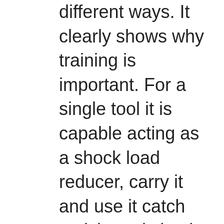different ways. It clearly shows why training is important. For a single tool it is capable acting as a shock load reducer, carry it and use it catch anticipated shock load at the anchor. Provides a knotless tie off. Can reduce rope stress in highload situations. Belaying anchor,the list